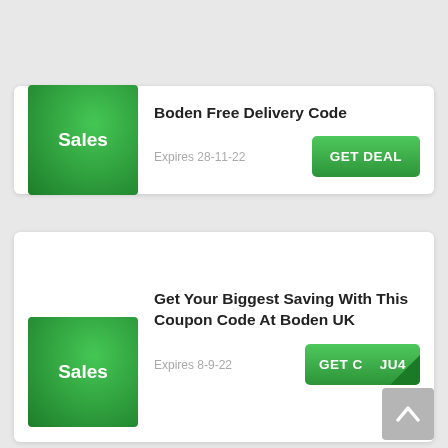[Figure (infographic): Green sales badge for first deal card]
Boden Free Delivery Code
Expires 28-11-22
GET DEAL
[Figure (infographic): Green sales badge for second deal card]
Get Your Biggest Saving With This Coupon Code At Boden UK
Expires 8-9-22
GET CODE
[Figure (infographic): Grey scroll-to-top button with upward chevron]